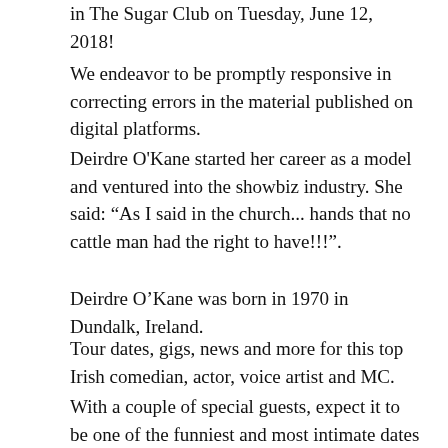in The Sugar Club on Tuesday, June 12, 2018!
We endeavor to be promptly responsive in correcting errors in the material published on digital platforms.
Deirdre O'Kane started her career as a model and ventured into the showbiz industry. She said: “As I said in the church... hands that no cattle man had the right to have!!!”.
Deirdre O’Kane was born in 1970 in Dundalk, Ireland.
Tour dates, gigs, news and more for this top Irish comedian, actor, voice artist and MC.
With a couple of special guests, expect it to be one of the funniest and most intimate dates Deirdre does this year.